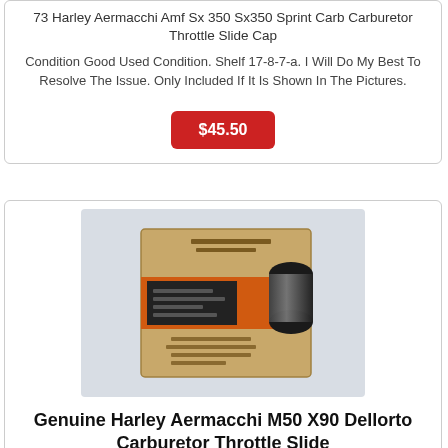73 Harley Aermacchi Amf Sx 350 Sx350 Sprint Carb Carburetor Throttle Slide Cap
Condition Good Used Condition. Shelf 17-8-7-a. I Will Do My Best To Resolve The Issue. Only Included If It Is Shown In The Pictures.
$45.50
[Figure (photo): Photo of a Harley Aermacchi throttle slide part in original cardboard packaging with a black cylindrical cap visible]
Genuine Harley Aermacchi M50 X90 Dellorto Carburetor Throttle Slide